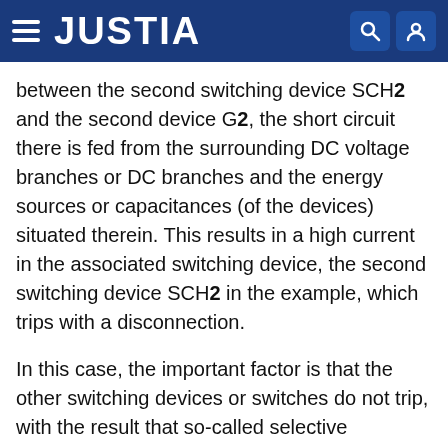JUSTIA
between the second switching device SCH2 and the second device G2, the short circuit there is fed from the surrounding DC voltage branches or DC branches and the energy sources or capacitances (of the devices) situated therein. This results in a high current in the associated switching device, the second switching device SCH2 in the example, which trips with a disconnection.
In this case, the important factor is that the other switching devices or switches do not trip, with the result that so-called selective disconnection of the fault takes place.
Furthermore, the other switching devices are intended to hinder the current flow from the respective DC voltage branch or load feeder to the short circuit as little as possible so that the switching device, the second